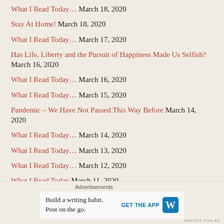What I Read Today… March 18, 2020
Stay At Home! March 18, 2020
What I Read Today… March 17, 2020
Has Life, Liberty and the Pursuit of Happiness Made Us Selfish? March 16, 2020
What I Read Today… March 16, 2020
What I Read Today… March 15, 2020
Pandemic – We Have Not Passed This Way Before March 14, 2020
What I Read Today… March 14, 2020
What I Read Today… March 13, 2020
What I Read Today… March 12, 2020
What I Read Today March 11, 2020
Advertisements
Build a writing habit. Post on the go. GET THE APP